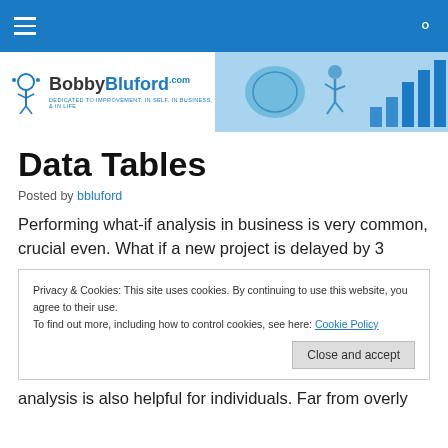Navigation bar with hamburger menu and search icon
[Figure (logo): BobbyBluford.com logo with brain/runner illustration banner]
Data Tables
Posted by bbluford
Performing what-if analysis in business is very common, crucial even. What if a new project is delayed by 3
Privacy & Cookies: This site uses cookies. By continuing to use this website, you agree to their use.
To find out more, including how to control cookies, see here: Cookie Policy
[Close and accept button]
analysis is also helpful for individuals. Far from overly